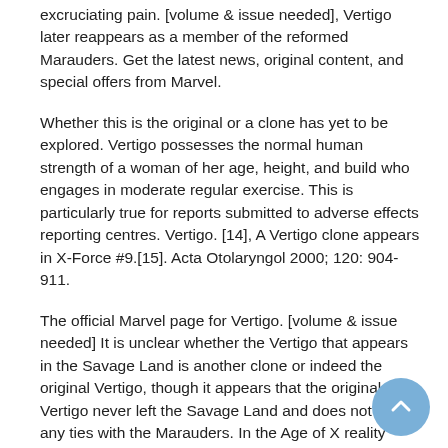excruciating pain. [volume & issue needed], Vertigo later reappears as a member of the reformed Marauders. Get the latest news, original content, and special offers from Marvel.
Whether this is the original or a clone has yet to be explored. Vertigo possesses the normal human strength of a woman of her age, height, and build who engages in moderate regular exercise. This is particularly true for reports submitted to adverse effects reporting centres. Vertigo. [14], A Vertigo clone appears in X-Force #9.[15]. Acta Otolaryngol 2000; 120: 904-911.
The official Marvel page for Vertigo. [volume & issue needed] It is unclear whether the Vertigo that appears in the Savage Land is another clone or indeed the original Vertigo, though it appears that the original Vertigo never left the Savage Land and does not have any ties with the Marauders. In the Age of X reality Vertigo appeared as an X-Man.
Her alliance with Sinister was short-lived at that time, as she soon rejoined her Savage Land Mutate allies.